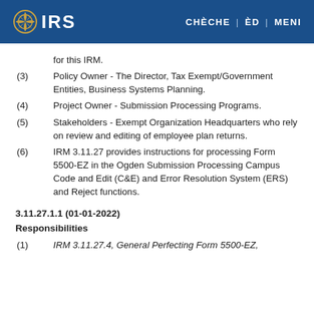IRS | CHÈCHE | ÈD | MENI
for this IRM.
(3) Policy Owner - The Director, Tax Exempt/Government Entities, Business Systems Planning.
(4) Project Owner - Submission Processing Programs.
(5) Stakeholders - Exempt Organization Headquarters who rely on review and editing of employee plan returns.
(6) IRM 3.11.27 provides instructions for processing Form 5500-EZ in the Ogden Submission Processing Campus Code and Edit (C&E) and Error Resolution System (ERS) and Reject functions.
3.11.27.1.1 (01-01-2022)
Responsibilities
(1) IRM 3.11.27.4, General Perfecting Form 5500-EZ,